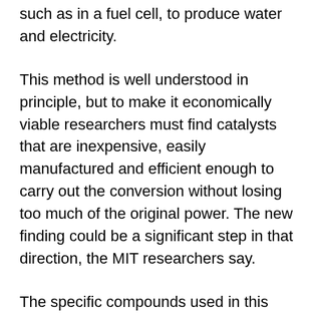such as in a fuel cell, to produce water and electricity.
This method is well understood in principle, but to make it economically viable researchers must find catalysts that are inexpensive, easily manufactured and efficient enough to carry out the conversion without losing too much of the original power. The new finding could be a significant step in that direction, the MIT researchers say.
The specific compounds used in this research were made by combining a lanthanide (praseodymium, samarium, gadolinium or holmium) with barium, cobalt and oxygen. These compounds form a crystal structure with one distinct site for barium and another for the lanthanide. “There’s lots of flexibility in the chemistry and structure,” Shao-Horn